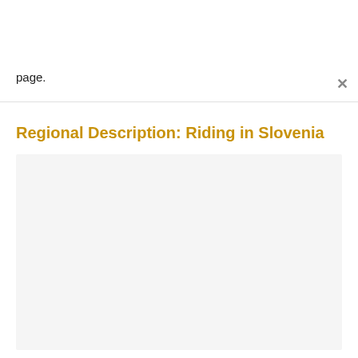page.
Regional Description: Riding in Slovenia
[Figure (other): Large light gray content area below the section header, representing a content/image placeholder.]